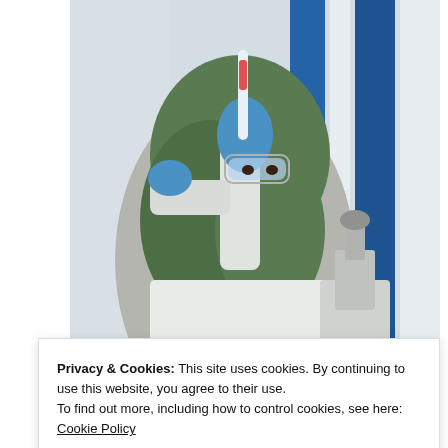[Figure (photo): A woman wearing a green hijab, safety goggles, and white lab coat holding a test tube in a laboratory with a microscope and blue equipment visible in the background. Slideshow controls (previous, pause, next) visible at bottom right of image.]
Northrop Grumman Technician/Operational Staff Jobs in Ashburn Apply Now
Sponsored by jobble.com
[Figure (photo): Partially visible outdoor photo with green foliage and trees in background, people visible at bottom edge.]
Privacy & Cookies: This site uses cookies. By continuing to use this website, you agree to their use.
To find out more, including how to control cookies, see here: Cookie Policy